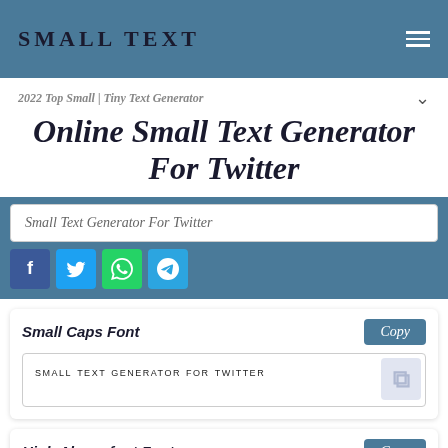SMALL TEXT
2022 Top Small | Tiny Text Generator
Online Small Text Generator For Twitter
Small Text Generator For Twitter
Small Caps Font
SMALL TEXT GENERATOR FOR TWITTER
High Above font Fonts
small text generator for twitter